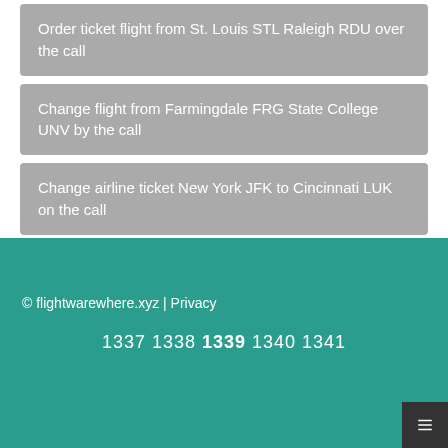Order ticket flight from St. Louis STL Raleigh RDU over the call
Change flight from Farmingdale FRG State College UNV by the call
Change airline ticket New York JFK to Cincinnati LUK on the call
© flightwarewhere.xyz | Privacy
1337 1338 1339 1340 1341